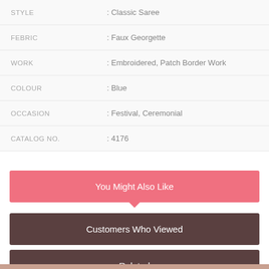| STYLE | : Classic Saree |
| FEBRIC | : Faux Georgette |
| WORK | : Embroidered, Patch Border Work |
| COLOUR | : Blue |
| OCCASION | : Festival, Ceremonial |
| CATALOG NO. | : 4176 |
You Might Also Like
Customers Who Viewed
Related